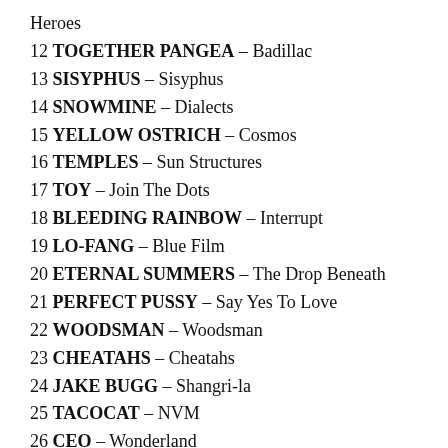Heroes
12 TOGETHER PANGEA – Badillac
13 SISYPHUS – Sisyphus
14 SNOWMINE – Dialects
15 YELLOW OSTRICH – Cosmos
16 TEMPLES – Sun Structures
17 TOY – Join The Dots
18 BLEEDING RAINBOW – Interrupt
19 LO-FANG – Blue Film
20 ETERNAL SUMMERS – The Drop Beneath
21 PERFECT PUSSY – Say Yes To Love
22 WOODSMAN – Woodsman
23 CHEATAHS – Cheatahs
24 JAKE BUGG – Shangri-la
25 TACOCAT – NVM
26 CEO – Wonderland
27 FALL – Into The Fire [EP]